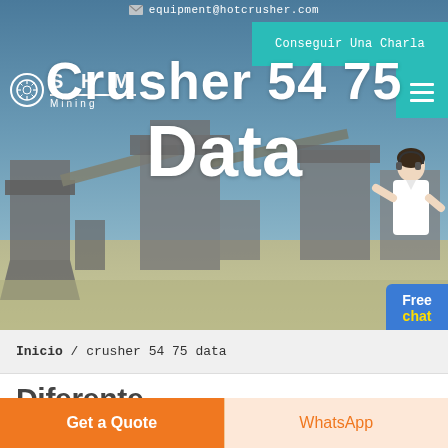equipment@hotcrusher.com
Conseguir Una Charla
[Figure (screenshot): SHM Mining logo with star-wars style icon, white text on industrial background]
[Figure (photo): Industrial mining/crushing facility with conveyors and hoppers against blue sky]
Crusher 54 75 Data
Free chat
Inicio / crusher 54 75 data
Diferente Máquinas Para Satisfacer Todas Las Necesidades
Get a Quote
WhatsApp